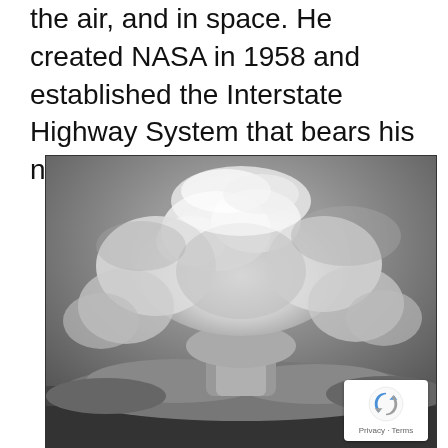the air, and in space. He created NASA in 1958 and established the Interstate Highway System that bears his name today.
[Figure (photo): Black and white historical photograph of a nuclear mushroom cloud rising into the sky, with billowing clouds visible at the base and sides. A reCAPTCHA privacy badge is overlaid in the bottom-right corner of the image.]